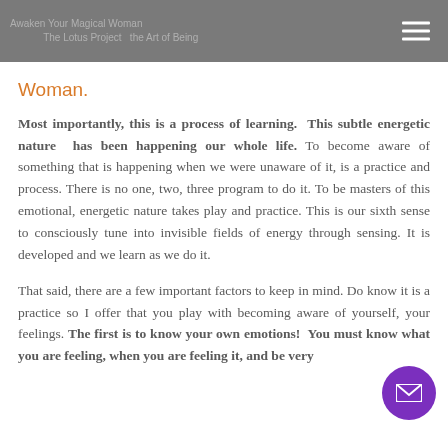Awaken Your Magical Woman ... The Lotus Project the Art of Being Woman.
Woman.
Most importantly, this is a process of learning. This subtle energetic nature has been happening our whole life. To become aware of something that is happening when we were unaware of it, is a practice and process. There is no one, two, three program to do it. To be masters of this emotional, energetic nature takes play and practice. This is our sixth sense to consciously tune into invisible fields of energy through sensing. It is developed and we learn as we do it.
That said, there are a few important factors to keep in mind. Do know it is a practice so I offer that you play with becoming aware of yourself, your feelings. The first is to know your own emotions! You must know what you are feeling, when you are feeling it, and be very